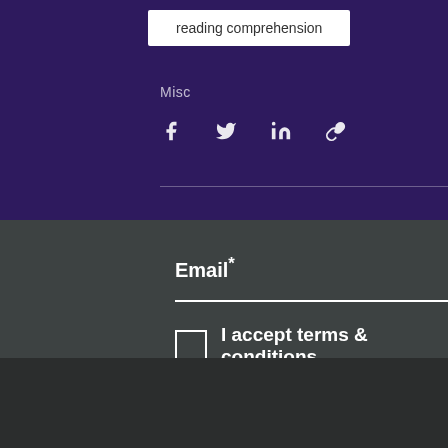reading comprehension
Misc
[Figure (infographic): Social share icons: Facebook, Twitter, LinkedIn, Link/copy]
Email*
I accept terms & conditions
This website uses cookies . By accepting, you agree to our use of such cookies. Privacy Policy
Decline All
Accept
Settings